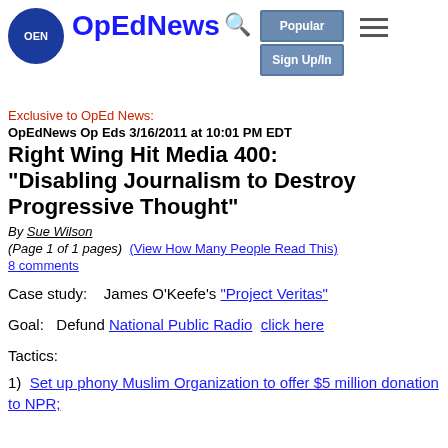OpEdNews
Exclusive to OpEd News:
OpEdNews Op Eds 3/16/2011 at 10:01 PM EDT
Right Wing Hit Media 400: "Disabling Journalism to Destroy Progressive Thought"
By Sue Wilson
(Page 1 of 1 pages)  (View How Many People Read This)
8 comments
Case study:    James O'Keefe's "Project Veritas"
Goal:   Defund National Public Radio   click here
Tactics:
1)  Set up phony Muslim Organization to offer $5 million donation to NPR;